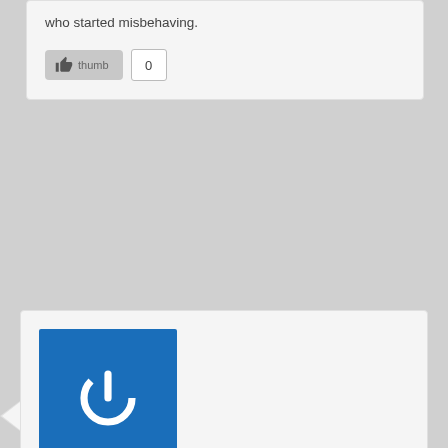...banned which he held over any club member who started misbehaving.
0
[Figure (illustration): Power button icon in white on blue square background — user avatar for Brian]
Brian on August 25, 2012 at 9:23 pm said:
763Joe,

I am surprised by this post, but not by the content. Your post is riddled with grammar errors that I don't remember from your previous posts.

“the fact that” never needed. I don’t want to make a list.